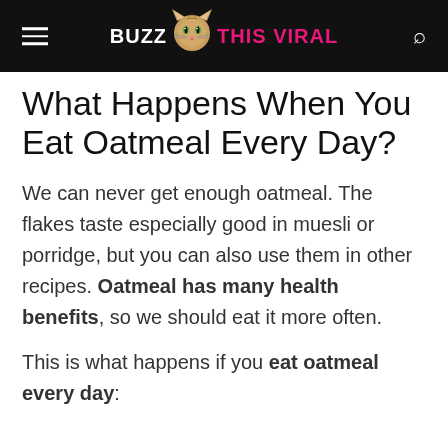BUZZ THIS VIRAL
What Happens When You Eat Oatmeal Every Day?
We can never get enough oatmeal. The flakes taste especially good in muesli or porridge, but you can also use them in other recipes. Oatmeal has many health benefits, so we should eat it more often.
This is what happens if you eat oatmeal every day: